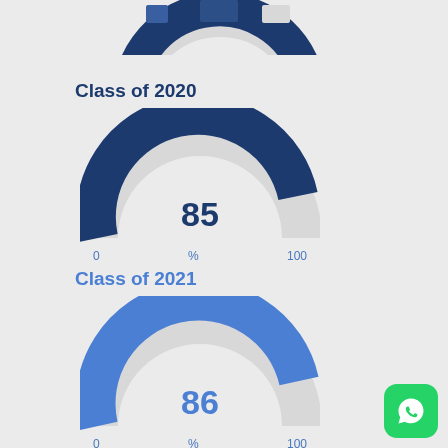[Figure (donut-chart): Partial gauge chart visible at top of page, showing value around 81%]
[Figure (donut-chart): Class of 2020]
[Figure (donut-chart): Class of 2021]